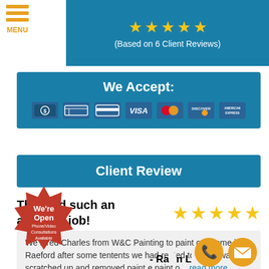[Figure (other): Hamburger menu icon with orange bars and MENU label]
[Figure (other): Header band with gold stars and text: (Based on 6 Client Reviews)]
(Based on 6 Client Reviews)
We Accept:
[Figure (other): Payment method icons: cash, check, credit card, Visa, Mastercard, Discover, American Express]
Client Review
They did such an amazing job!
[Figure (other): Five gold stars rating]
We hired Charles from W&C Painting to paint our home in Raeford after some tentents we had rented to in the walls, scratched up and removed paint e paint o... read more
[Figure (other): Red starburst badge: We're Open - Phone/Video Consultations Available]
- Ra... L...rd
[Figure (other): Orange phone icon circle]
[Figure (other): Orange mail/envelope icon circle]